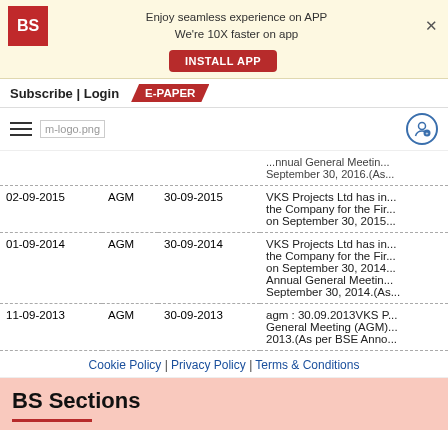Enjoy seamless experience on APP
We're 10X faster on app
INSTALL APP
Subscribe | Login  E-PAPER
[Figure (logo): Hamburger menu, m-logo.png broken image, user icon]
| Date | Type | Record Date | Description |
| --- | --- | --- | --- |
|  |  |  | Annual General Meeting...
September 30, 2016.(As... |
| 02-09-2015 | AGM | 30-09-2015 | VKS Projects Ltd has in...
the Company for the Fir...
on September 30, 2015... |
| 01-09-2014 | AGM | 30-09-2014 | VKS Projects Ltd has in...
the Company for the Fir...
on September 30, 2014
Annual General Meeting...
September 30, 2014.(As... |
| 11-09-2013 | AGM | 30-09-2013 | agm : 30.09.2013VKS P...
General Meeting (AGM)...
2013.(As per BSE Anno... |
Cookie Policy | Privacy Policy | Terms & Conditions
BS Sections